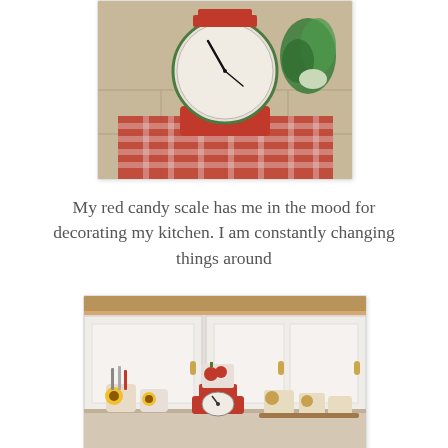[Figure (photo): A red vintage candy/kitchen scale with a round clock-face dial, sitting on a red plaid tablecloth/mat on a tiled counter. A green potted plant is visible in the background.]
My red candy scale has me in the mood for decorating my kitchen. I am constantly changing things around
[Figure (photo): Kitchen counter scene showing white cabinets, a red candy/kitchen scale with a tomato-themed canister on top, sunflower-decorated utensil holders, and rooster-themed ceramic canisters.]